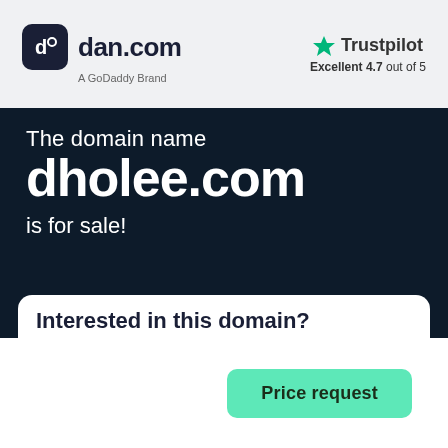[Figure (logo): dan.com logo with rounded square icon and 'A GoDoddy Brand' subtitle]
[Figure (logo): Trustpilot logo with green star and 'Excellent 4.7 out of 5' rating]
The domain name
dholee.com
is for sale!
Interested in this domain?
Price request